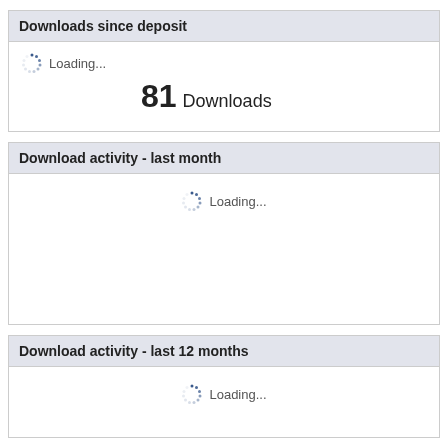Downloads since deposit
Loading... 81 Downloads
Download activity - last month
Loading...
Download activity - last 12 months
Loading...